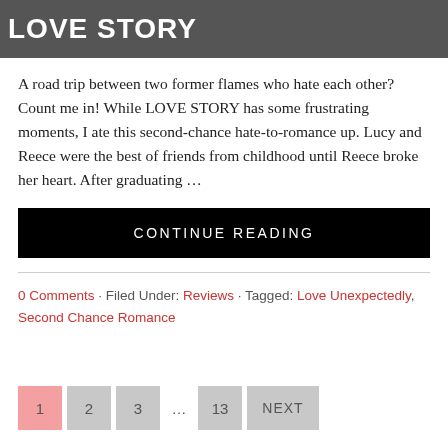[Figure (photo): Dark grayscale image banner with bold white text reading LOVE STORY]
A road trip between two former flames who hate each other? Count me in! While LOVE STORY has some frustrating moments, I ate this second-chance hate-to-romance up. Lucy and Reece were the best of friends from childhood until Reece broke her heart. After graduating …
CONTINUE READING
0 Comments · Filed Under: Reviews · Tagged: Love Unexpectedly, Second Chance Romance
1  2  3  …  13  NEXT